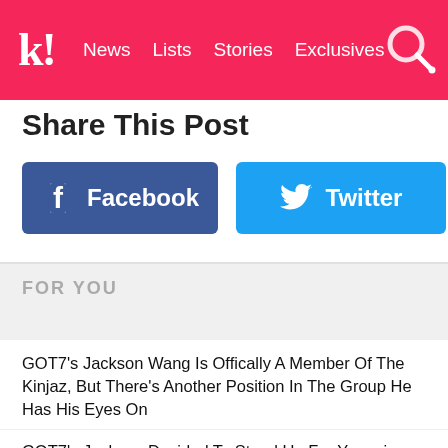k! News  Lists  Stories  Exclusives
Share This Post
[Figure (other): Facebook share button (blue rounded rectangle with Facebook 'f' icon and 'Facebook' label in white)]
[Figure (other): Twitter share button (sky blue rounded rectangle with Twitter bird icon and 'Twitter' label in white)]
FOR YOU
GOT7's Jackson Wang Is Offically A Member Of The Kinjaz, But There's Another Position In The Group He Has His Eyes On
GOT7's Jackson Decided To Stand Up For Youngjae Against Their Boss, Park Jin Young
GOT7's Jackson Wang Accidentally Kisses A Man At Party
EXO's Baekhyun Goes Viral After It Is Revealed He Had